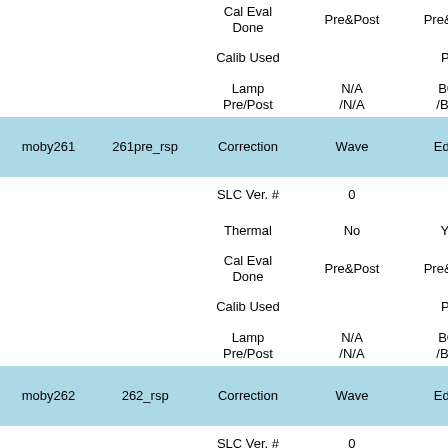|  |  |  | Wave | EdSfc | EdTop |
| --- | --- | --- | --- | --- | --- |
|  |  | Cal Eval Done | Pre&Post | Pre&Post | Pre&Po |
|  |  | Calib Used |  | Pre | Pre |
|  |  | Lamp Pre/Post | N/A /N/A | BOL /BOL | BOL /N/ |
| moby261 | 261pre_rsp | Correction | Wave | EdSfc | EdTop |
|  |  | SLC Ver. # | 0 | 6 | 6 |
|  |  | Thermal | No | Yes | Yes |
|  |  | Cal Eval Done | Pre&Post | Pre&Post | Pre&Po |
|  |  | Calib Used |  | Pre | Pre |
|  |  | Lamp Pre/Post | N/A /N/A | BOL /BOL | BOL /N/ |
| moby262 | 262_rsp | Correction | Wave | EdSfc | EdTop |
|  |  | SLC Ver. # | 0 | 6 | 6 |
|  |  | Thermal | No | Yes | Yes |
|  |  | Cal Eval Done | Pre&Post | Pre&Post | Pre&Po |